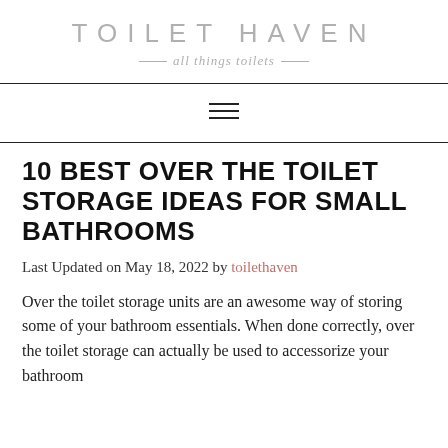TOILET HAVEN
= all things toilets =
10 BEST OVER THE TOILET STORAGE IDEAS FOR SMALL BATHROOMS
Last Updated on May 18, 2022 by toilethaven
Over the toilet storage units are an awesome way of storing some of your bathroom essentials. When done correctly, over the toilet storage can actually be used to accessorize your bathroom